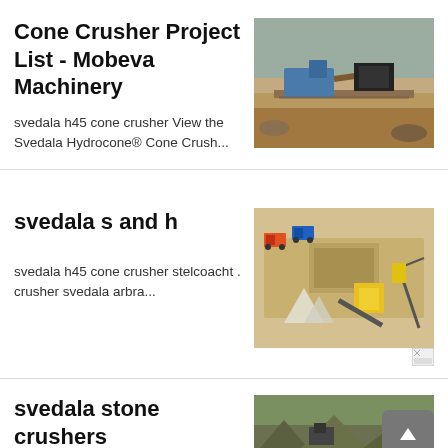Cone Crusher Project List - Mobeva Machinery
[Figure (photo): Aerial view of a quarry/crushing plant with blue machinery and earthworks]
svedala h45 cone crusher View the Svedala Hydrocone® Cone Crush...
svedala s and h
[Figure (illustration): 3D diagram of a stone crushing facility layout with trucks and machinery]
svedala h45 cone crusher stelcoacht . crusher svedala arbra...
[Figure (other): Small broken/loading image icon]
svedala stone crushers
[Figure (photo): Photo of stone crushers/quarry equipment in a rocky landscape]